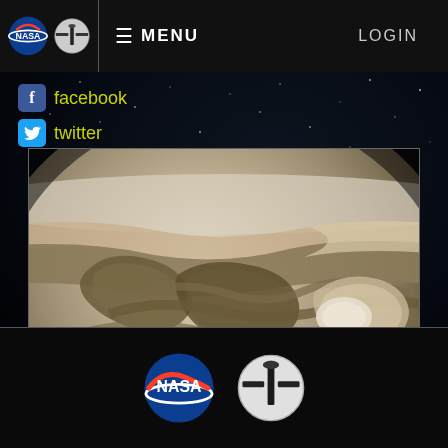MENU   LOGIN
facebook
twitter
[Figure (photo): Close-up photograph of Jupiter's swirling cloud bands and storms taken by NASA's Juno spacecraft]
Back to top
NASA Juno Mission logos